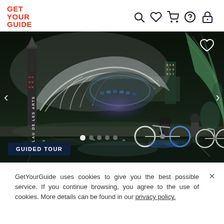[Figure (logo): GetYourGuide logo in red/orange text, stacked on three lines: GET / YOUR / GUIDE]
[Figure (screenshot): Navigation bar icons: search (magnifying glass), heart/wishlist, shopping cart, help/question mark circle, account/lock icon]
[Figure (photo): Night photo of the City of Arts and Sciences in Valencia, Spain. Two people with bicycles stand near illuminated futuristic architecture. A tall obelisk monument is on the left with text PALAU DE LES ARTS. The buildings are reflected in water. A heart icon (favoriting) is in the top right corner. Navigation arrows on left and right sides. White dot and gray dots indicator at bottom. A dark blue badge reads GUIDED TOUR in white text.]
GetYourGuide uses cookies to give you the best possible service. If you continue browsing, you agree to the use of cookies. More details can be found in our privacy policy.